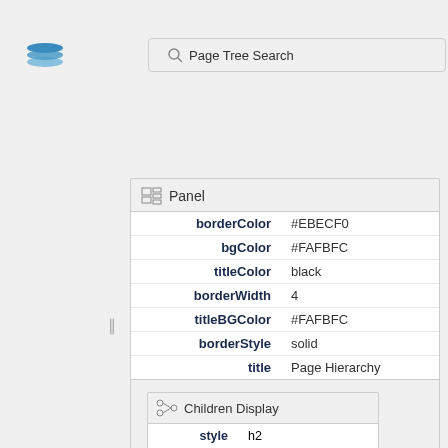[Figure (screenshot): Layers icon (blue stacked layers) in top left]
Page Tree Search
Panel
| borderColor | #EBECF0 |
| bgColor | #FAFBFC |
| titleColor | black |
| borderWidth | 4 |
| titleBGColor | #FAFBFC |
| borderStyle | solid |
| title | Page Hierarchy |
Children Display
| style | h2 |
| reverse | true |